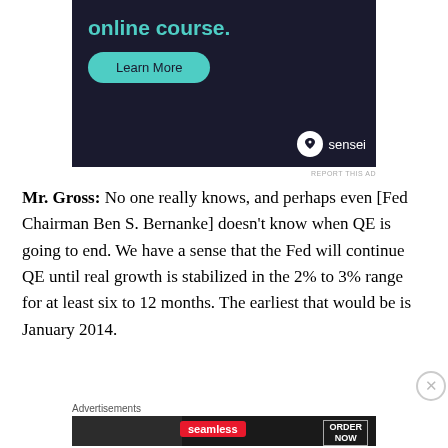[Figure (other): Sensei advertisement with dark navy background showing 'online course.' text in teal, a teal 'Learn More' button, and the Sensei logo (tree icon) in bottom right]
REPORT THIS AD
Mr. Gross: No one really knows, and perhaps even [Fed Chairman Ben S. Bernanke] doesn't know when QE is going to end. We have a sense that the Fed will continue QE until real growth is stabilized in the 2% to 3% range for at least six to 12 months. The earliest that would be is January 2014.
Advertisements
[Figure (other): Seamless food delivery advertisement showing pizza slices, Seamless logo in red, and 'ORDER NOW' button on dark background]
REPORT THIS AD